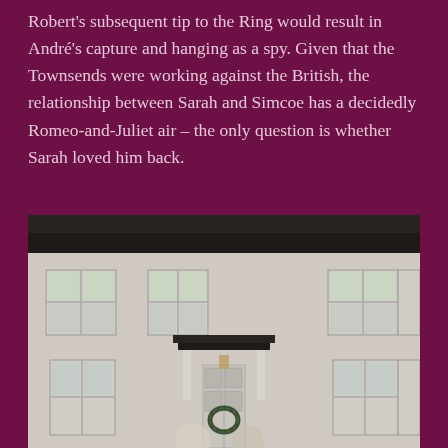Robert's subsequent tip to the Ring would result in André's capture and hanging as a spy. Given that the Townsends were working against the British, the relationship between Sarah and Simcoe has a decidedly Romeo-and-Juliet air – the only question is whether Sarah loved him back.
[Figure (photo): Front facade of a large white colonial-style house with multiple windows, a dark roof, and a black portico/entrance canopy over the front door. The photo is taken on a sunny day with tree shadows cast on the white exterior.]